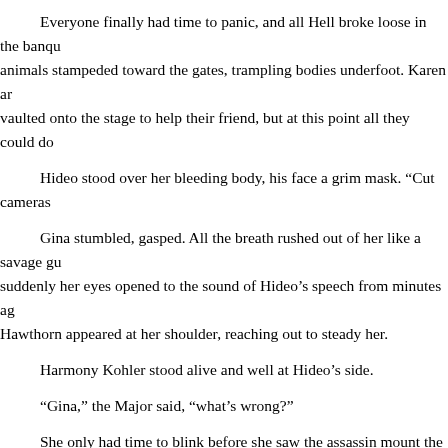Everyone finally had time to panic, and all Hell broke loose in the banqu animals stampeded toward the gates, trampling bodies underfoot. Karen ar vaulted onto the stage to help their friend, but at this point all they could do

Hideo stood over her bleeding body, his face a grim mask. “Cut cameras

Gina stumbled, gasped. All the breath rushed out of her like a savage gu suddenly her eyes opened to the sound of Hideo’s speech from minutes ag Hawthorn appeared at her shoulder, reaching out to steady her.

Harmony Kohler stood alive and well at Hideo’s side.

“Gina,” the Major said, “what’s wrong?”

She only had time to blink before she saw the assassin mount the stage even think about using her radio. She lashed out in a combination of panic a man’s brainstem. Holding nothing back, she ripped into his motor functions

A living statue stood on the stage in front of the King and Queen of Lapu fingers. Hideo was all set to receive him, and didn’t know what to do when t Harmony just gaped. So did the rest of the audience.

Even the Royal Guard was taken aback. They stopped short, held by de wanted to be the first to touch him.

They watched as Gina came forward and pried the gun out of the assas pocket of her suit, turned a thin smile on Hideo and said, “You can thank m